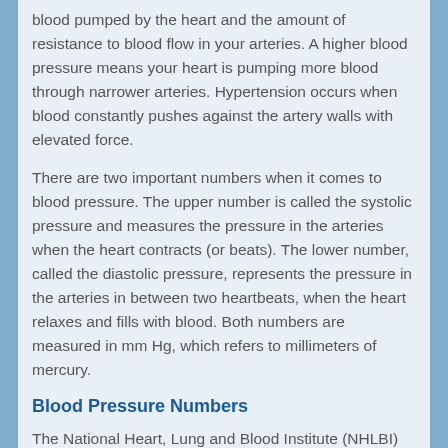blood pumped by the heart and the amount of resistance to blood flow in your arteries. A higher blood pressure means your heart is pumping more blood through narrower arteries. Hypertension occurs when blood constantly pushes against the artery walls with elevated force.
There are two important numbers when it comes to blood pressure. The upper number is called the systolic pressure and measures the pressure in the arteries when the heart contracts (or beats). The lower number, called the diastolic pressure, represents the pressure in the arteries in between two heartbeats, when the heart relaxes and fills with blood. Both numbers are measured in mm Hg, which refers to millimeters of mercury.
Blood Pressure Numbers
The National Heart, Lung and Blood Institute (NHLBI) defines a normal blood pressure as 120/80 mm Hg. If your blood pressure is between 120 to 139 over 80 to 89 mm Hg, then your physician will diagnose you with pre-